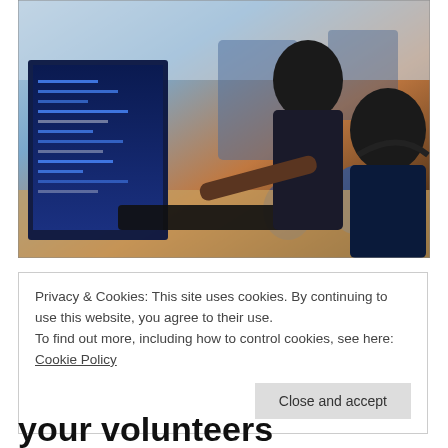[Figure (photo): Two people at a desk looking at a laptop screen with code. A woman standing leans over to point at the screen while a man seated looks on thoughtfully. An office environment with other people and computers in the background.]
Privacy & Cookies: This site uses cookies. By continuing to use this website, you agree to their use.
To find out more, including how to control cookies, see here: Cookie Policy
Close and accept
your volunteers